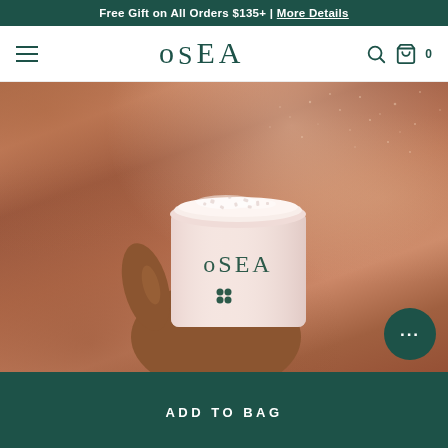Free Gift on All Orders $135+ | More Details
OSEA
[Figure (photo): Close-up photo of a hand holding an open OSEA branded cream/lotion jar with product visible at the top, against a warm brown/copper skin-tone background with shimmering texture.]
ADD TO BAG